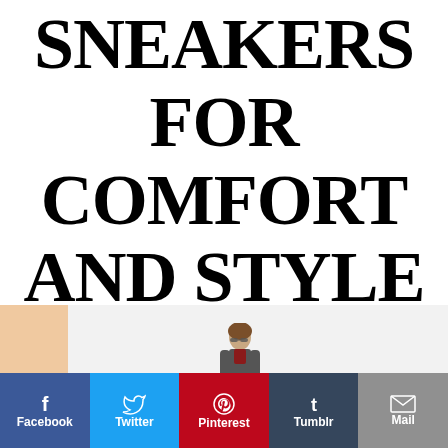SNEAKERS FOR COMFORT AND STYLE
[Figure (photo): A woman standing against a white wall with a peach-colored panel, wearing sunglasses and a casual outfit]
[Figure (infographic): Social sharing bar with Facebook, Twitter, Pinterest, Tumblr, and Mail buttons]